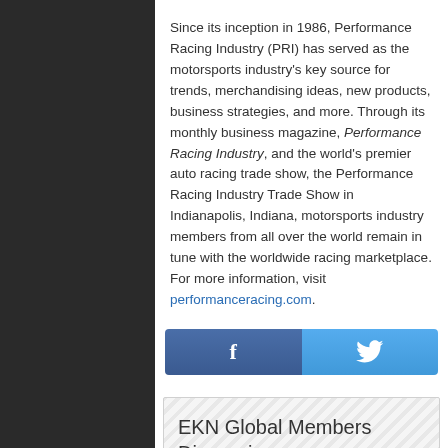Since its inception in 1986, Performance Racing Industry (PRI) has served as the motorsports industry's key source for trends, merchandising ideas, new products, business strategies, and more. Through its monthly business magazine, Performance Racing Industry, and the world's premier auto racing trade show, the Performance Racing Industry Trade Show in Indianapolis, Indiana, motorsports industry members from all over the world remain in tune with the worldwide racing marketplace. For more information, visit performanceracing.com.
[Figure (other): Facebook and Twitter social share buttons]
EKN Global Members Discussion: